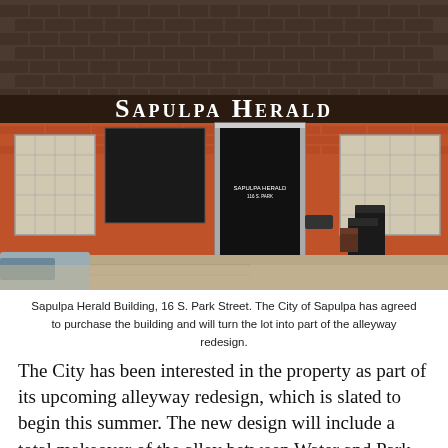[Figure (photo): Exterior photo of the Sapulpa Herald Building at 16 S. Park Street. A red brick building with a dark shingle roof, 'Sapulpa Herald' sign in white letters on top. Center glass door with building signage, flanked by glass block windows on both sides. A black trash/recycling bin is near the entrance. A car is partially visible on the lower left.]
Sapulpa Herald Building, 16 S. Park Street. The City of Sapulpa has agreed to purchase the building and will turn the lot into part of the alleyway redesign.
The City has been interested in the property as part of its upcoming alleyway redesign, which is slated to begin this summer. The new design will include a total makeover of the alley between Water and Park Streets on either side of Dewey. The lot